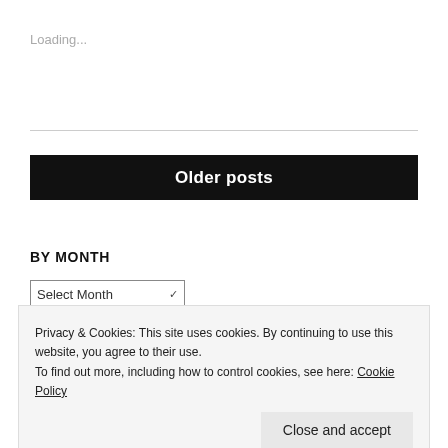Loading...
Older posts
BY MONTH
Select Month
Privacy & Cookies: This site uses cookies. By continuing to use this website, you agree to their use.
To find out more, including how to control cookies, see here: Cookie Policy
Close and accept